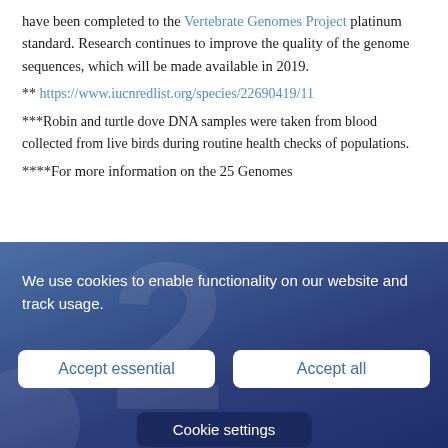have been completed to the Vertebrate Genomes Project platinum standard. Research continues to improve the quality of the genome sequences, which will be made available in 2019.
** https://www.iucnredlist.org/species/22690419/11
***Robin and turtle dove DNA samples were taken from blood collected from live birds during routine health checks of populations.
****For more information on the 25 Genomes
[Figure (screenshot): Cookie consent banner with blue gradient background, text 'We use cookies to enable functionality on our website and track usage.', two white buttons labeled 'Accept essential' and 'Accept all', and a partially visible dark 'Cookie settings' button at the bottom.]